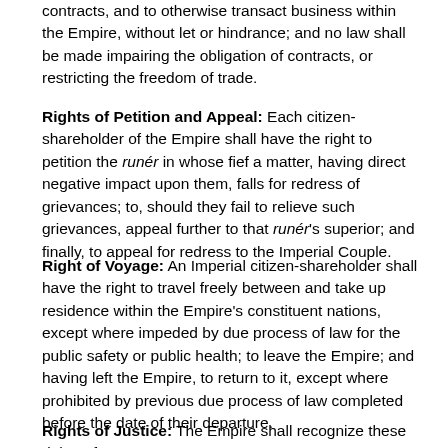contracts, and to otherwise transact business within the Empire, without let or hindrance; and no law shall be made impairing the obligation of contracts, or restricting the freedom of trade.
Rights of Petition and Appeal: Each citizen-shareholder of the Empire shall have the right to petition the runér in whose fief a matter, having direct negative impact upon them, falls for redress of grievances; to, should they fail to relieve such grievances, appeal further to that runér's superior; and finally, to appeal for redress to the Imperial Couple.
Right of Voyage: An Imperial citizen-shareholder shall have the right to travel freely between and take up residence within the Empire's constituent nations, except where impeded by due process of law for the public safety or public health; to leave the Empire; and having left the Empire, to return to it, except where prohibited by previous due process of law completed before the date of their departure.
Rights of Justice: The Empire shall recognize these rights of